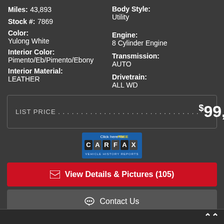Miles: 43,893
Body Style: Utility
Stock #: 7869
Engine: 8 Cylinder Engine
Color: Yulong White
Transmission: AUTO
Interior Color: Pimento/Eb/Pimento/Ebony
Drivetrain: ALL WD
Interior Material: LEATHER
LIST PRICE . . . . . . . . . . . . . . . . . . . . . . . . . . . . . $99,977
[Figure (logo): CARFAX Click here for FREE Vehicle History Reports badge]
View Details & Pictures (105)
Contact Us